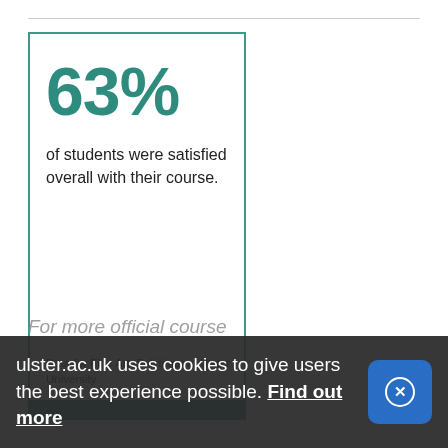63%
of students were satisfied overall with their course.
Data for Fine Art (Full time) at Ulster University
ulster.ac.uk uses cookies to give users the best experience possible. Find out more